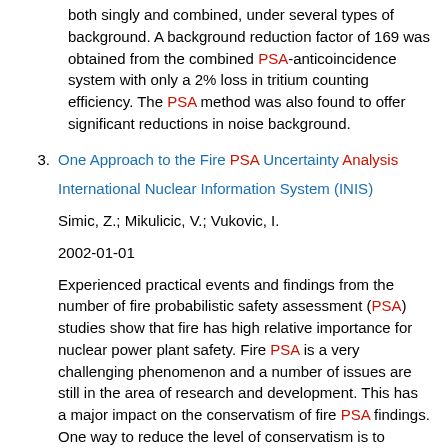both singly and combined, under several types of background. A background reduction factor of 169 was obtained from the combined PSA-anticoincidence system with only a 2% loss in tritium counting efficiency. The PSA method was also found to offer significant reductions in noise background.
3. One Approach to the Fire PSA Uncertainty Analysis

International Nuclear Information System (INIS)

Simic, Z.; Mikulicic, V.; Vukovic, I.

2002-01-01

Experienced practical events and findings from the number of fire probabilistic safety assessment (PSA) studies show that fire has high relative importance for nuclear power plant safety. Fire PSA is a very challenging phenomenon and a number of issues are still in the area of research and development. This has a major impact on the conservatism of fire PSA findings. One way to reduce the level of conservatism is to conduct uncertainty analysis. At the top-level, uncertainty of the fire PSA can be separated in to three segments. The first segment is related to fire initiating events frequencies. The second uncertainty